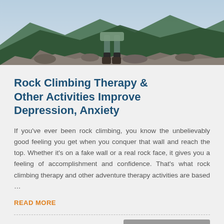[Figure (photo): Person standing on rocky mountain summit with hiking boots visible, mountain valley in background]
Rock Climbing Therapy & Other Activities Improve Depression, Anxiety
If you've ever been rock climbing, you know the unbelievably good feeling you get when you conquer that wall and reach the top. Whether it's on a fake wall or a real rock face, it gives you a feeling of accomplishment and confidence. That's what rock climbing therapy and other adventure therapy activities are based …
READ MORE
Posted by Kathy Rex
ADVENTURE THERAPY